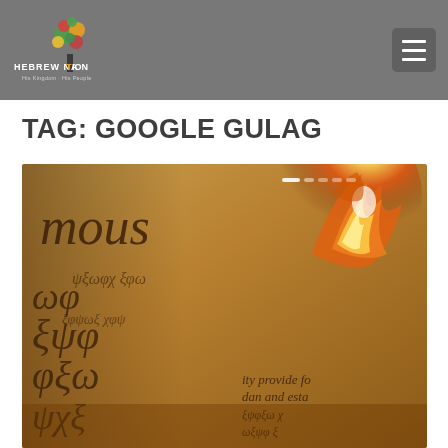[Figure (logo): Hebrew Nation radio logo with colorful tree and text 'HEBREW NATION - His Kingdom - His People']
TAG: GOOGLE GULAG
[Figure (photo): A burning document with old cursive handwriting, partially showing the word 'mous' and cursive text, with flames visible on the right side of the image.]